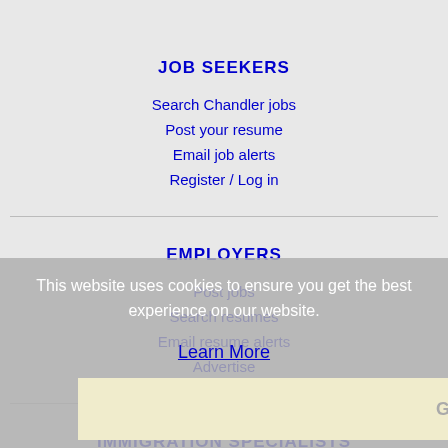JOB SEEKERS
Search Chandler jobs
Post your resume
Email job alerts
Register / Log in
EMPLOYERS
Post jobs
Search resumes
Email resume alerts
Advertise
This website uses cookies to ensure you get the best experience on our website.
Learn More
Got it!
IMMIGRATION SPECIALISTS
Post jobs